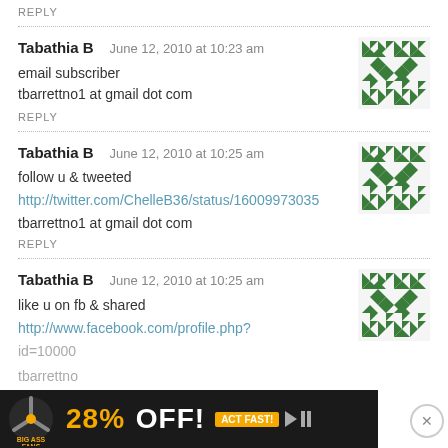REPLY
Tabathia B   June 12, 2010 at 10:23 am
email subscriber
tbarrettno1 at gmail dot com
REPLY
[Figure (illustration): Green geometric avatar pattern for Tabathia B (first comment)]
Tabathia B   June 12, 2010 at 10:25 am
follow u & tweeted
http://twitter.com/ChelleB36/status/16009973035
tbarrettno1 at gmail dot com
REPLY
[Figure (illustration): Green geometric avatar pattern for Tabathia B (second comment)]
Tabathia B   June 12, 2010 at 10:25 am
like u on fb & shared
http://www.facebook.com/profile.php?
id=10000...
tbarrettno...
[Figure (illustration): Green geometric avatar pattern for Tabathia B (third comment)]
[Figure (screenshot): Advertisement banner: Big Ass Fans 28% OFF! Act Fast!]